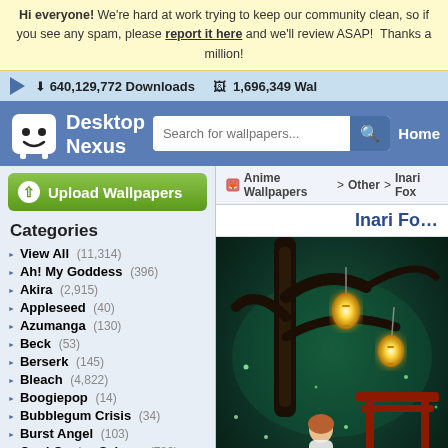Hi everyone! We're hard at work trying to keep our community clean, so if you see any spam, please report it here and we'll review ASAP! Thanks a million!
640,129,772 Downloads   1,696,349 Wallpapers
[Figure (screenshot): Desktop Nexus logo — white cartoon cube face with smile on blue background, beside text 'Desktop Nexus']
Search for wallpapers...
Home
Upload Wallpapers
Anime Wallpapers > Other > Inari Fox
Categories
View All (11,314)
Ah! My Goddess (396)
Akira (2,915)
Appleseed (40)
Azumanga (130)
Beck (53)
Berserk (145)
Bleach (4,822)
Boogiepop (14)
Bubblegum Crisis (34)
Burst Angel (103)
Card Captor Sakura (736)
Chobits (406)
Chrono Crusade (61)
Inari Fo...
[Figure (illustration): Anime wallpaper: Inari Fox scene — a female anime character in white and red outfit holding a lantern stands before a red torii gate in a glowing mystical green forest with large tree and hanging lanterns]